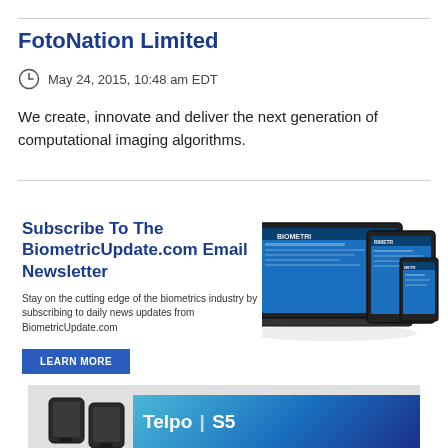FotoNation Limited
May 24, 2015, 10:48 am EDT
We create, innovate and deliver the next generation of computational imaging algorithms.
[Figure (infographic): Advertisement banner for BiometricUpdate.com email newsletter with text 'Subscribe To The BiometricUpdate.com Email Newsletter', small description text, a LEARN MORE button, and an illustration of laptop, tablet, and smartphone devices.]
[Figure (photo): Bottom banner showing two dark biometric scanner devices on the left and a blue gradient area on the right with text 'Telpo | S5'.]